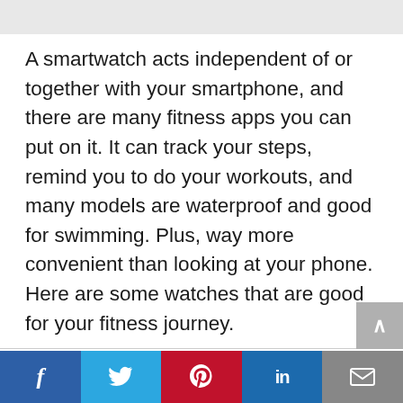[Figure (screenshot): Gray top navigation bar area]
A smartwatch acts independent of or together with your smartphone, and there are many fitness apps you can put on it. It can track your steps, remind you to do your workouts, and many models are waterproof and good for swimming. Plus, way more convenient than looking at your phone. Here are some watches that are good for your fitness journey.
[Figure (screenshot): Social media share bar with Facebook, Twitter, Pinterest, LinkedIn, and Email buttons]